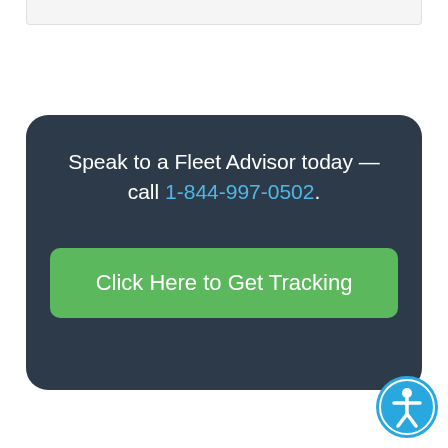[Figure (screenshot): Top bar/browser chrome element at the top of the page]
Speak to a Fleet Advisor today — call 1-844-997-0502.
Click Here to Get Tracking
[Figure (logo): Accessibility icon — circular blue badge with a white person/accessibility symbol]